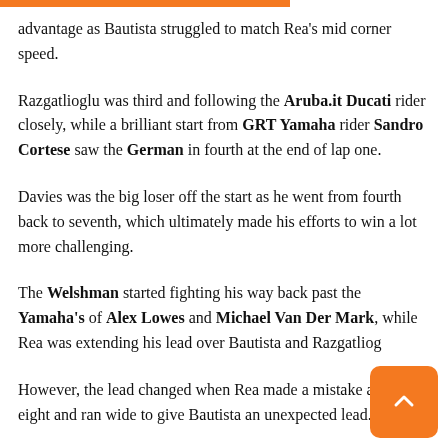advantage as Bautista struggled to match Rea's mid corner speed.
Razgatlioglu was third and following the Aruba.it Ducati rider closely, while a brilliant start from GRT Yamaha rider Sandro Cortese saw the German in fourth at the end of lap one.
Davies was the big loser off the start as he went from fourth back to seventh, which ultimately made his efforts to win a lot more challenging.
The Welshman started fighting his way back past the Yamaha's of Alex Lowes and Michael Van Der Mark, while Rea was extending his lead over Bautista and Razgatliog
However, the lead changed when Rea made a mistake at turn eight and ran wide to give Bautista an unexpected lead. The